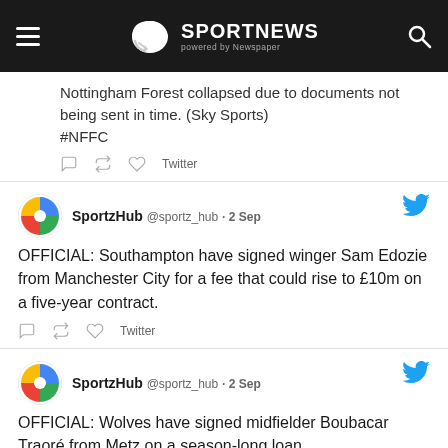SPORTNEWS powered by Newspaper
Nottingham Forest collapsed due to documents not being sent in time. (Sky Sports)
#NFFC
SportzHub @sportz_hub · 2 Sep
OFFICIAL: Southampton have signed winger Sam Edozie from Manchester City for a fee that could rise to £10m on a five-year contract.
SportzHub @sportz_hub · 2 Sep
OFFICIAL: Wolves have signed midfielder Boubacar Traoré from Metz on a season-long loan.